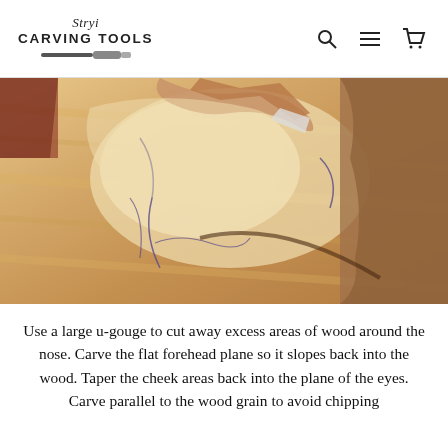Stryi CARVING TOOLS
[Figure (photo): Close-up photo of a hand using a wood carving tool on a light-colored wooden piece, showing carved relief with pencil sketch lines visible on the wood surface.]
Use a large u-gouge to cut away excess areas of wood around the nose. Carve the flat forehead plane so it slopes back into the wood. Taper the cheek areas back into the plane of the eyes. Carve parallel to the wood grain to avoid chipping